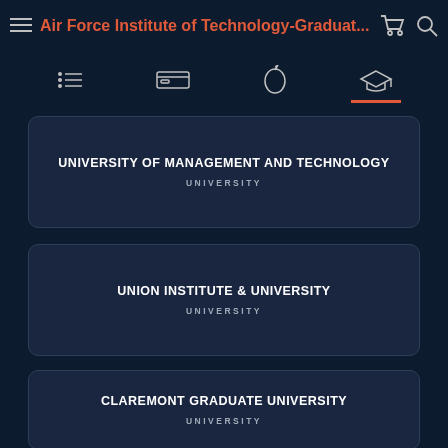Air Force Institute of Technology-Graduat...
UNIVERSITY OF MANAGEMENT AND TECHNOLOGY
UNIVERSITY
UNION INSTITUTE & UNIVERSITY
UNIVERSITY
CLAREMONT GRADUATE UNIVERSITY
UNIVERSITY